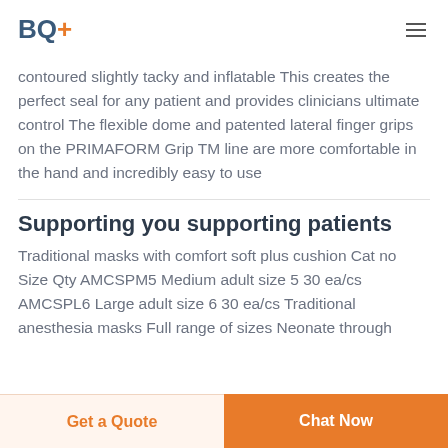BQ+
contoured slightly tacky and inflatable This creates the perfect seal for any patient and provides clinicians ultimate control The flexible dome and patented lateral finger grips on the PRIMAFORM Grip TM line are more comfortable in the hand and incredibly easy to use
Supporting you supporting patients
Traditional masks with comfort soft plus cushion Cat no Size Qty AMCSPM5 Medium adult size 5 30 ea/cs AMCSPL6 Large adult size 6 30 ea/cs Traditional anesthesia masks Full range of sizes Neonate through
Get a Quote  Chat Now